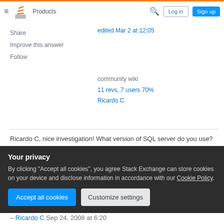≡  [Stack Overflow logo]  Products  🔍  Log in  Sign up
Share
Improve this answer
Follow
edited Mar 2 at 12:05
community wiki
11 revs, 7 users 70%
Ricardo C
Ricardo C, nice investigation! What version of SQL server do you use? On MSSQL2000 method with datediff performs slightly faster for me. – aku Sep 24, 2008 at 5:29
Your privacy
By clicking "Accept all cookies", you agree Stack Exchange can store cookies on your device and disclose information in accordance with our Cookie Policy.
[Accept all cookies]  [Customize settings]
– Ricardo C Sep 24, 2008 at 6:20